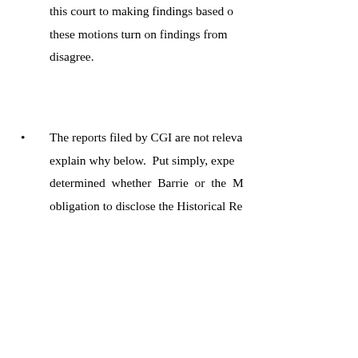this court to making findings based on these motions turn on findings from disagree.
The reports filed by CGI are not relevant, explain why below. Put simply, experts determined whether Barrie or the [party] obligation to disclose the Historical Re[ports]